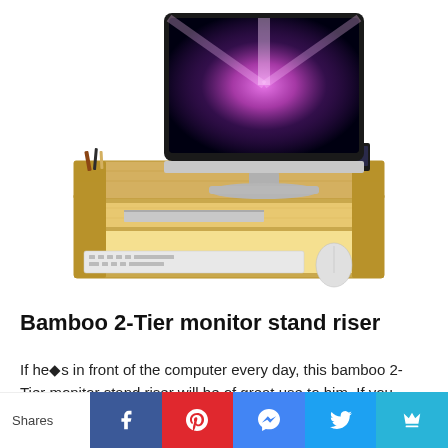[Figure (photo): A bamboo 2-tier monitor stand riser with an iMac on top, showing shelves for laptop and accessories, with keyboard and mouse underneath]
Bamboo 2-Tier monitor stand riser
If he◆s in front of the computer every day, this bamboo 2-Tier monitor stand riser will be of great use to him. If you elevate his laptop or monitor, it will help him reduce neck
Shares | Facebook | Pinterest | Messenger | Twitter | Crown